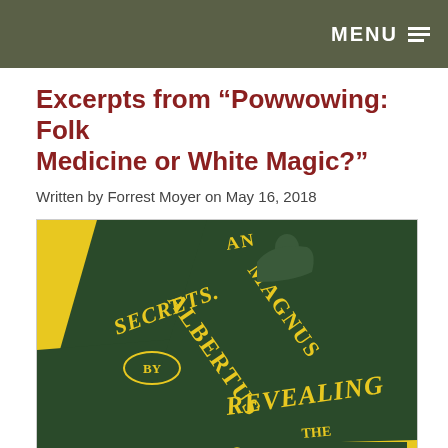MENU
Excerpts from “Powwowing: Folk Medicine or White Magic?”
Written by Forrest Moyer on May 16, 2018
[Figure (photo): Book cover of 'Secrets of Albertus Magnus Revealing the Forbidden Knowledge & Mysteries of...' — yellow and dark green ornate Victorian-style typography on a yellow background.]